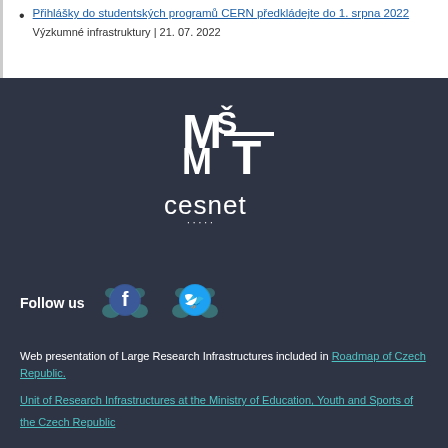Přihlášky do studentských programů CERN předkládejte do 1. srpna 2022
Výzkumné infrastruktury | 21. 07. 2022
[Figure (logo): MŠMT (Czech Ministry of Education, Youth and Sports) logo in white on dark background]
[Figure (logo): CESNET logo in white on dark background]
Follow us
[Figure (illustration): Facebook and Twitter social media icons with decorative teal bee/molecule graphics]
Web presentation of Large Research Infrastructures included in Roadmap of Czech Republic.
Unit of Research Infrastructures at the Ministry of Education, Youth and Sports of the Czech Republic
Editorial board • Logo